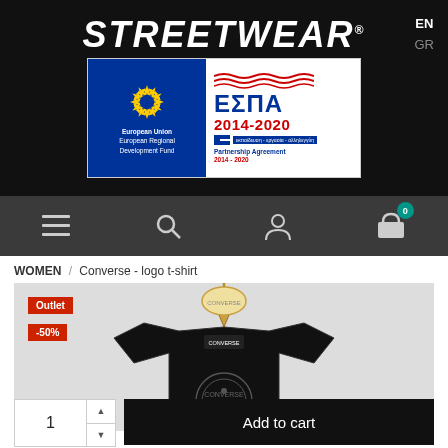STREETWEAR
[Figure (logo): ESPA EU Partnership Agreement 2014-2020 banner with European Union flag and ΕΣΠΑ logo]
EN / GR language switcher
[Figure (other): Navigation bar with hamburger menu, search, user and cart icons (0 items)]
WOMEN / Converse - logo t-shirt
[Figure (photo): Black Converse logo t-shirt on a wooden hanger against a light grey background, with Outlet and -50% red tags]
1
Add to cart